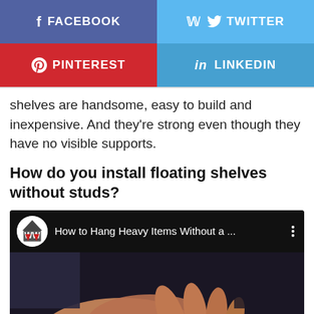[Figure (screenshot): Social media share buttons: Facebook (purple-blue), Twitter (light blue), Pinterest (red), LinkedIn (blue)]
shelves are handsome, easy to build and inexpensive. And they're strong even though they have no visible supports.
How do you install floating shelves without studs?
[Figure (screenshot): YouTube video thumbnail showing 'How to Hang Heavy Items Without a ...' with channel icon WW and a person's hands in the thumbnail]